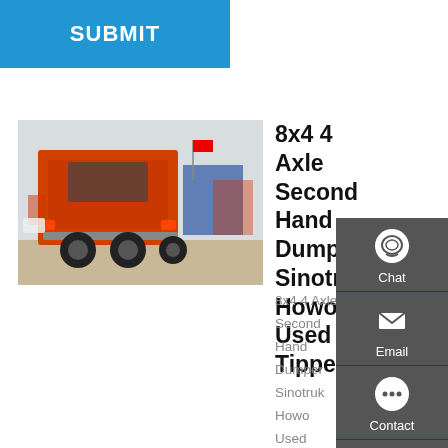SUBMIT
[Figure (photo): Rear view of an orange Sinotruk Howo truck in a vehicle yard]
8x4 4 Axle Second Hand Dumper Sinotruk Howo Used Tipper
8x4 4 Axle Second Hand Dumper Sinotruk Howo Used Tipper Trucks For Sale, Find Complete Details about 8x4 4 Axle Second Hand Dumper Sinotruk Howo Used Tipper